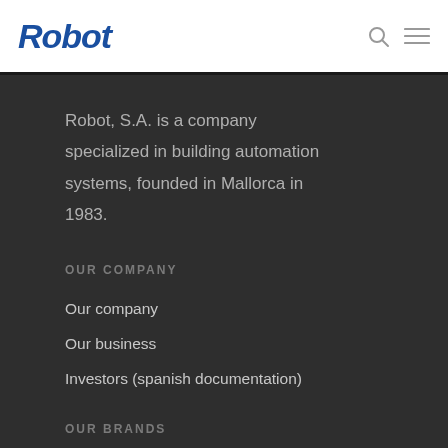Robot
Robot, S.A. is a company specialized in building automation systems, founded in Mallorca in 1983.
OUR COMPANY
Our company
Our business
Investors (spanish documentation)
OUR BRANDS